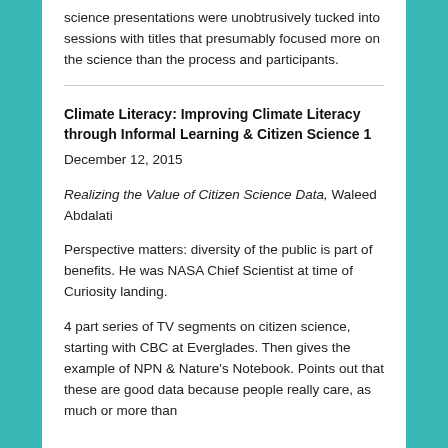science presentations were unobtrusively tucked into sessions with titles that presumably focused more on the science than the process and participants.
Climate Literacy: Improving Climate Literacy through Informal Learning & Citizen Science 1
December 12, 2015
Realizing the Value of Citizen Science Data, Waleed Abdalati
Perspective matters: diversity of the public is part of benefits. He was NASA Chief Scientist at time of Curiosity landing.
4 part series of TV segments on citizen science, starting with CBC at Everglades. Then gives the example of NPN & Nature's Notebook. Points out that these are good data because people really care, as much or more than